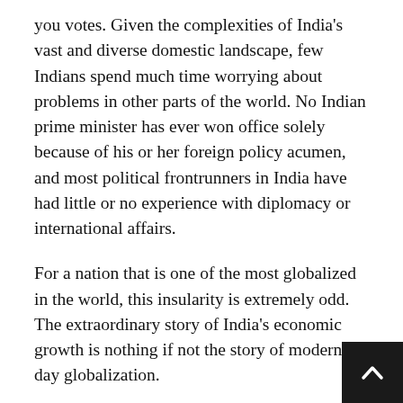you votes. Given the complexities of India's vast and diverse domestic landscape, few Indians spend much time worrying about problems in other parts of the world. No Indian prime minister has ever won office solely because of his or her foreign policy acumen, and most political frontrunners in India have had little or no experience with diplomacy or international affairs.
For a nation that is one of the most globalized in the world, this insularity is extremely odd. The extraordinary story of India's economic growth is nothing if not the story of modern-day globalization.
The big boom of the Indian economy in the early 1990s was fueled by an embrace of the external world. In 1960, India's exports and imports together amounted to less than a tenth of the GDP. By 2014, they weighed up more than four-tenths. In 2016, there were 360, Indian students in universities overseas, and the y